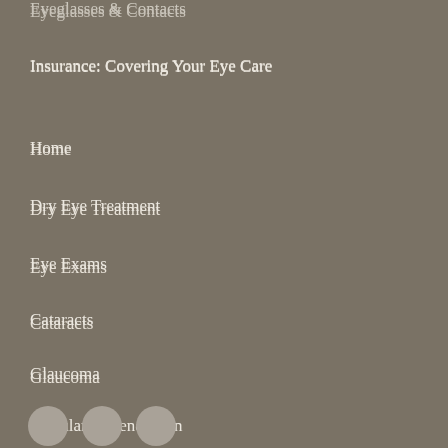Eyeglasses & Contacts
Insurance: Covering Your Eye Care
Home
Dry Eye Treatment
Eye Exams
Cataracts
Glaucoma
Macular Degeneration
Treating Diabetic Retinopathy
Contact Us
What’s New
[Figure (other): Three circular social media icon buttons at the bottom of the navigation menu]